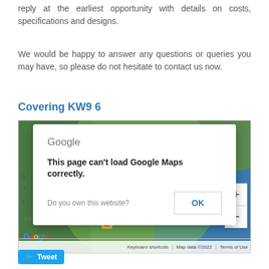reply at the earliest opportunity with details on costs, specifications and designs.
We would be happy to answer any questions or queries you may have, so please do not hesitate to contact us now.
Covering KW9 6
[Figure (screenshot): Google Maps embed showing area around KW9 6, with a Google Maps error dialog overlay saying 'This page can't load Google Maps correctly.' with an OK button and 'Do you own this website?' prompt. Map shows Golspie, Backies, Brora area in Scotland with a green coverage circle overlay.]
Tweet